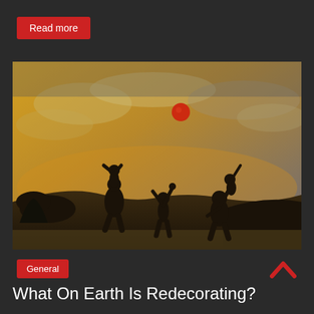Read more
[Figure (photo): Silhouette of children playing with a ball at sunset, dark background with golden cloudy sky]
General
What On Earth Is Redecorating?